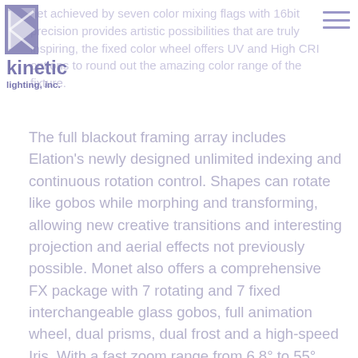[Figure (logo): Kinetic Lighting, Inc. logo with geometric K mark and company name]
net achieved by seven color mixing flags with 16bit precision provides artistic possibilities that are truly inspiring, the fixed color wheel offers UV and High CRI options to round out the amazing color range of the fixture.
The full blackout framing array includes Elation's newly designed unlimited indexing and continuous rotation control. Shapes can rotate like gobos while morphing and transforming, allowing new creative transitions and interesting projection and aerial effects not previously possible. Monet also offers a comprehensive FX package with 7 rotating and 7 fixed interchangeable glass gobos, full animation wheel, dual prisms, dual frost and a high-speed Iris. With a fast zoom range from 6.8° to 55° and an impressive 160mm front lens the Monet has the power to cut